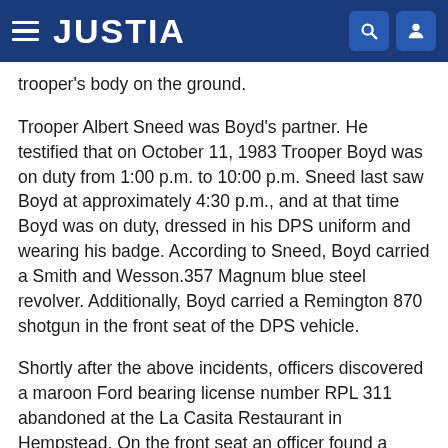JUSTIA
trooper's body on the ground.
Trooper Albert Sneed was Boyd's partner. He testified that on October 11, 1983 Trooper Boyd was on duty from 1:00 p.m. to 10:00 p.m. Sneed last saw Boyd at approximately 4:30 p.m., and at that time Boyd was on duty, dressed in his DPS uniform and wearing his badge. According to Sneed, Boyd carried a Smith and Wesson.357 Magnum blue steel revolver. Additionally, Boyd carried a Remington 870 shotgun in the front seat of the DPS vehicle.
Shortly after the above incidents, officers discovered a maroon Ford bearing license number RPL 311 abandoned at the La Casita Restaurant in Hempstead. On the front seat an officer found a "bank transaction paper" bearing the name Eliseo Moreno. Under the driver's seat an officer found two pistols, 25 caliber